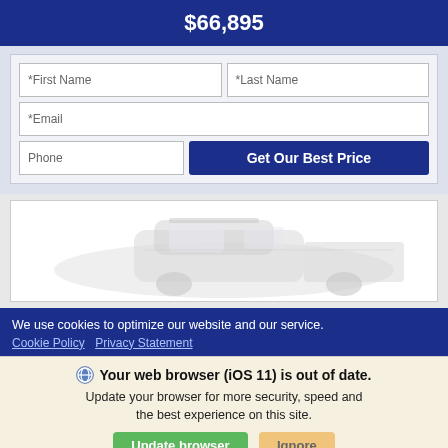$66,895
*First Name  *Last Name  *Email  Phone
Get Our Best Price
[Figure (photo): Faded/watermarked image of a truck or SUV vehicle, rear three-quarter view, light gray color scheme]
We use cookies to optimize our website and our service.
Cookie Policy  Privacy Statement
Your web browser (iOS 11) is out of date. Update your browser for more security, speed and the best experience on this site.
Update browser  Ignore